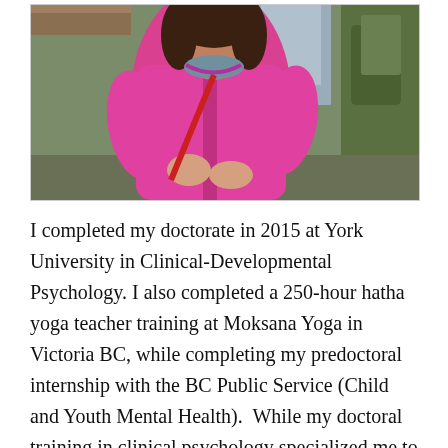[Figure (photo): A woman wearing a bright pink jacket standing outdoors in a forested area with mossy rocks and wooden fence in the background.]
I completed my doctorate in 2015 at York University in Clinical-Developmental Psychology. I also completed a 250-hour hatha yoga teacher training at Moksana Yoga in Victoria BC, while completing my predoctoral internship with the BC Public Service (Child and Youth Mental Health). While my doctoral training in clinical psychology specialized me to work with children, adolescents and their families, I completed additional